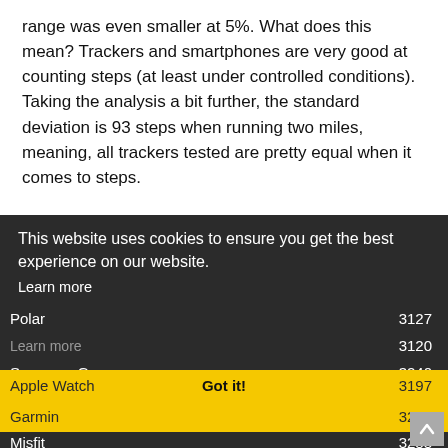range was even smaller at 5%. What does this mean? Trackers and smartphones are very good at counting steps (at least under controlled conditions). Taking the analysis a bit further, the standard deviation is 93 steps when running two miles, meaning, all trackers tested are pretty equal when it comes to steps.
The following chart shows the Fitness Tracker and the associated average number of steps collected during the test when running 2 miles on a treadmill:
[Figure (other): Cookie consent overlay covering part of the page with dark background, containing text 'This website uses cookies to ensure you get the best experience on our website.' with Learn more link and Got it! button. Below visible are rows of a table showing fitness tracker step counts: Polar 3120, Samsung Gear 3240, Apple Watch 3197 (highlighted in yellow), Garmin 3249 (highlighted in yellow), Misfit 3288, Withings 3152.]